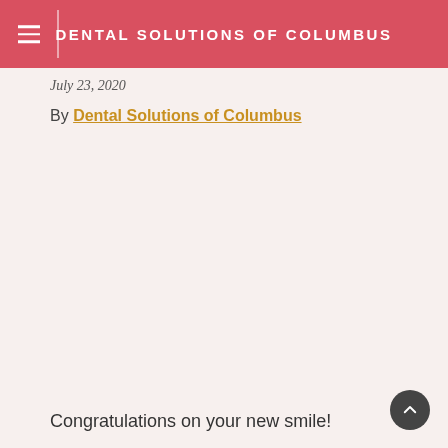DENTAL SOLUTIONS OF COLUMBUS
July 23, 2020
By Dental Solutions of Columbus
Congratulations on your new smile!